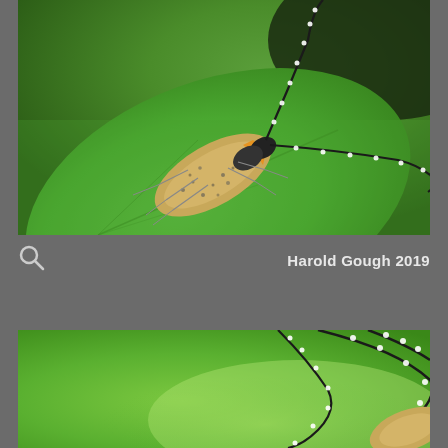[Figure (photo): Close-up macro photograph of a longhorn beetle (Agapanthia species) with long black-and-white banded antennae, sitting on a green leaf. The beetle has a speckled tan/golden body with black markings.]
Harold Gough 2019
[Figure (photo): Close-up macro photograph showing the long black-and-white banded antennae of a longhorn beetle against a blurred green background. Only the antennae and partial body are visible.]